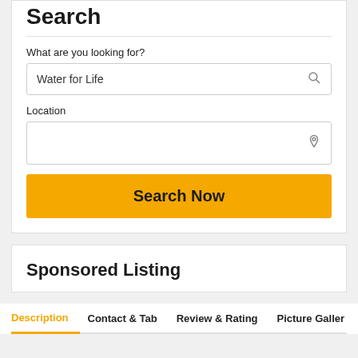Search
What are you looking for?
Water for Life
Location
Search Now
Sponsored Listing
Description  Contact & Tab  Review & Rating  Picture Gallery